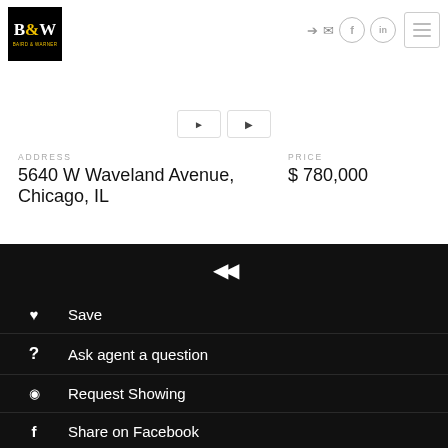[Figure (logo): B&W Baird & Warner real estate logo — black square with stylized B&W text in white and gold ampersand]
ADDRESS
PRICE
5640 W Waveland Avenue, Chicago, IL
$ 780,000
Save
Ask agent a question
Request Showing
Share on Facebook